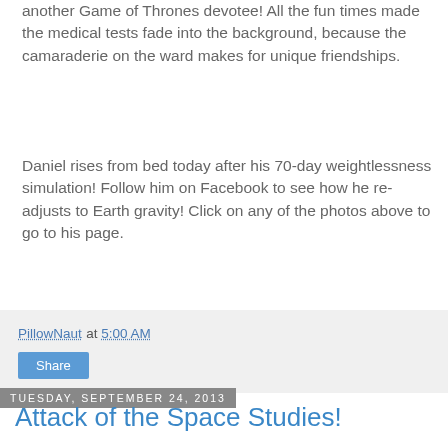another Game of Thrones devotee!  All the fun times made the medical tests fade into the background, because the camaraderie on the ward makes for unique friendships.
Daniel rises from bed today after his 70-day weightlessness simulation! Follow him on Facebook to see how he re-adjusts to Earth gravity!  Click on any of the photos above to go to his page.
PillowNaut at 5:00 AM
Share
Tuesday, September 24, 2013
Attack of the Space Studies!
[Figure (screenshot): Social share widget with buttons]
Every now and then, the space studies explode in the press, breathing new life into the space flight simulations. It